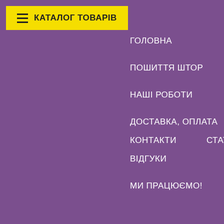КАТАЛОГ ТОВАРІВ
ГОЛОВНА
ПОШИТТЯ ШТОР
НАШІ РОБОТИ
ДОСТАВКА, ОПЛАТА
КОНТАКТИ
СТАТТІ
ВІДГУКИ
МИ ПРАЦЮЄМО!
ШТОРНЫЕ ТКАНИ ELIZABETH
ШТОРНЫЕ ТКАНИ ELMIDO
ШТОРНЫЕ ТКАНИ ELVIN